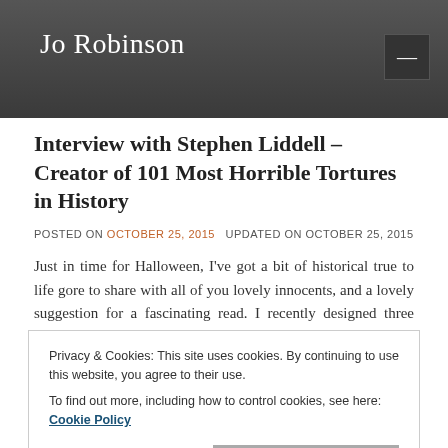Jo Robinson
Interview with Stephen Liddell – Creator of 101 Most Horrible Tortures in History
POSTED ON OCTOBER 25, 2015   UPDATED ON OCTOBER 25, 2015
Just in time for Halloween, I've got a bit of historical true to life gore to share with all of you lovely innocents, and a lovely suggestion for a fascinating read. I recently designed three covers for author
Privacy & Cookies: This site uses cookies. By continuing to use this website, you agree to their use.
To find out more, including how to control cookies, see here: Cookie Policy
Close and accept
online for inspirational images for the first cover I